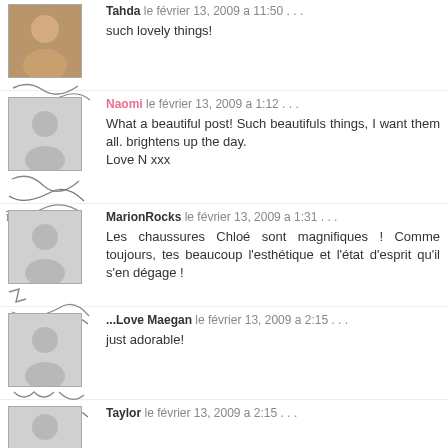Tahda le février 13, 2009 a 11:50 . . .
such lovely things!
Naomi le février 13, 2009 a 1:12 . .
What a beautiful post! Such beautifuls things, I want them all. brightens up the day.
Love N xxx
MarionRocks le février 13, 2009 a 1:31 . . .
Les chaussures Chloé sont magnifiques ! Comme toujours, tes beaucoup l'esthétique et l'état d'esprit qu'il s'en dégage !
...Love Maegan le février 13, 2009 a 2:15 . .
just adorable!
Taylor le février 13, 2009 a 2:15 . . .